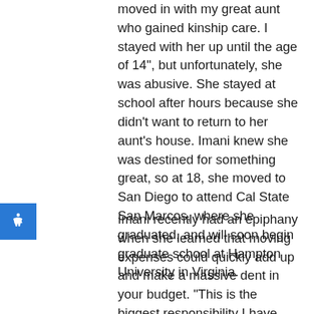moved in with my great aunt who gained kinship care. I stayed with her up until the age of 14", but unfortunately, she was abusive. She stayed at school after hours because she didn't want to return to her aunt's house. Imani knew she was destined for something great, so at 18, she moved to San Diego to attend Cal State San Marcos, where she graduated, and will soon begin graduate school at Hampton University in Virginia.
Imani recently had an epiphany when she learned that moving expenses could quickly add up and make a massive dent in your budget. “This is the biggest responsibility I have encountered. I learned about needing renters’ insurance, internet, and all the expenses